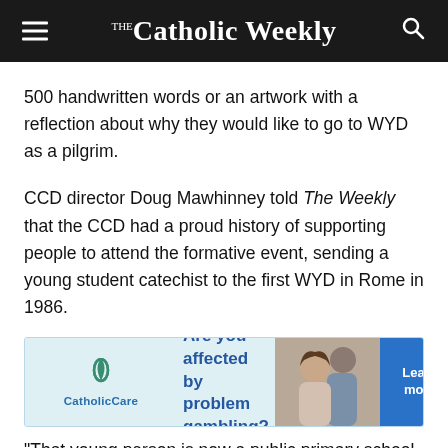The Catholic Weekly
500 handwritten words or an artwork with a reflection about why they would like to go to WYD as a pilgrim.
CCD director Doug Mawhinney told The Weekly that the CCD had a proud history of supporting people to attend the formative event, sending a young student catechist to the first WYD in Rome in 1986.
[Figure (other): CatholicCare advertisement: Are you affected by problem gambling? Learn more. Shows two people in conversation.]
“That young person is now a public primary school principal,” Mr Mawhinney said, “who has a real heart for catechists serving our Catholic kids, half of whom are enrolled in state schools – and so we are looking to support people attending